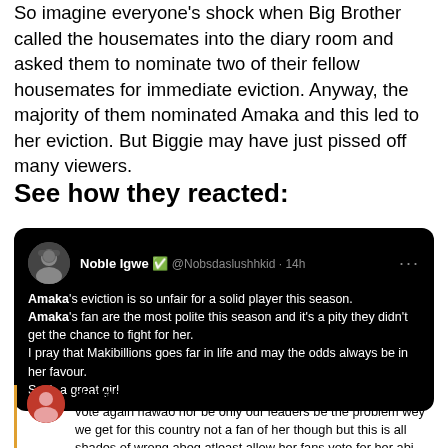So imagine everyone's shock when Big Brother called the housemates into the diary room and asked them to nominate two of their fellow housemates for immediate eviction. Anyway, the majority of them nominated Amaka and this led to her eviction. But Biggie may have just pissed off many viewers.
See how they reacted:
[Figure (screenshot): Tweet from Noble Igwe (@Nobsdaslushhkid) 14h ago on dark background: 'Amaka's eviction is so unfair for a solid player this season. Amaka's fan are the most polite this season and it's a pity they didn't get the chance to fight for her. I pray that Makibillions goes far in life and may the odds always be in her favour. Such a great girl']
[Figure (screenshot): Comment from shugapearl_14: 'So the viewers don't even have the right to vote again nawao nor be only our leaders be the problem wey we get for this country not a fan of her though but this is all shades of wrong abeg atleast allow her fans vote for her abi nor be reality tv show again nawao']